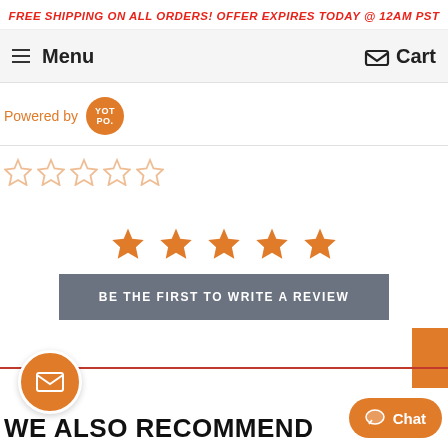FREE SHIPPING ON ALL ORDERS! OFFER EXPIRES TODAY @ 12AM PST
Menu  Cart
[Figure (logo): Powered by Yotpo logo badge]
[Figure (other): Five empty orange star rating icons]
[Figure (other): Five filled orange stars centered]
BE THE FIRST TO WRITE A REVIEW
WE ALSO RECOMMEND